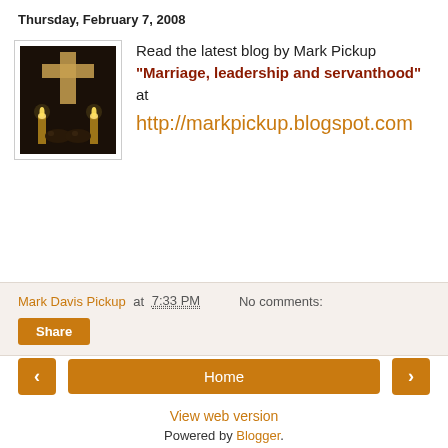Thursday, February 7, 2008
[Figure (photo): A photo showing hands holding near candles and a cross in a dark church setting]
Read the latest blog by Mark Pickup "Marriage, leadership and servanthood" at http://markpickup.blogspot.com
Mark Davis Pickup at 7:33 PM   No comments:
Share
< Home >
View web version
Powered by Blogger.